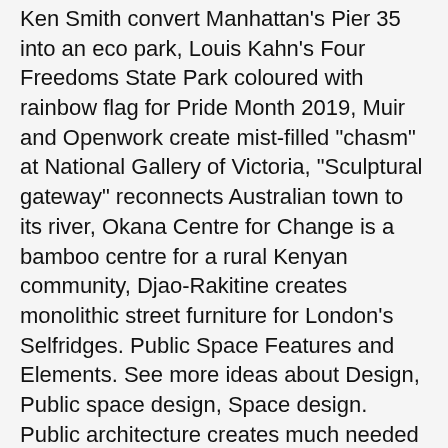Ken Smith convert Manhattan's Pier 35 into an eco park, Louis Kahn's Four Freedoms State Park coloured with rainbow flag for Pride Month 2019, Muir and Openwork create mist-filled "chasm" at National Gallery of Victoria, "Sculptural gateway" reconnects Australian town to its river, Okana Centre for Change is a bamboo centre for a rural Kenyan community, Djao-Rakitine creates monolithic street furniture for London's Selfridges. Public Space Features and Elements. See more ideas about Design, Public space design, Space design. Public architecture creates much needed nodes that allow people to gather, dwell and reorient themselves within their surrounding urban context. Trafalgar Square in London, England: This area becomes more friendly, pedestrian after the square design of this place. Public spaces are holistic entry points by nature Through its multi-functional and multi-disciplinary nature, public space offers a holistic view of the city, including social inclusion, governance, legislation, health, safety, education, climate change, transport, energy and the urban economy. Sound mitigation